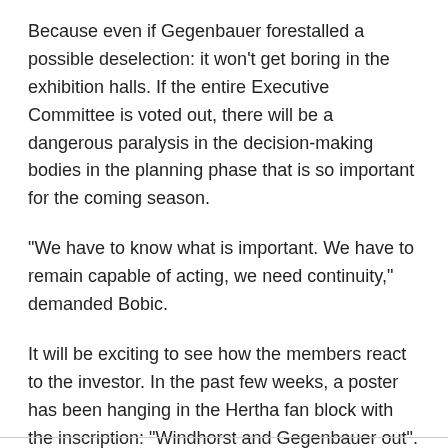Because even if Gegenbauer forestalled a possible deselection: it won’t get boring in the exhibition halls. If the entire Executive Committee is voted out, there will be a dangerous paralysis in the decision-making bodies in the planning phase that is so important for the coming season.
“We have to know what is important. We have to remain capable of acting, we need continuity,” demanded Bobic.
It will be exciting to see how the members react to the investor. In the past few weeks, a poster has been hanging in the Hertha fan block with the inscription: “Windhorst and Gegenbauer out”. In return, it remains to be seen whether Windhorst, who has already invested around 375 million euros in the club, has the prospect of new funds and what conditions these would be subject to.